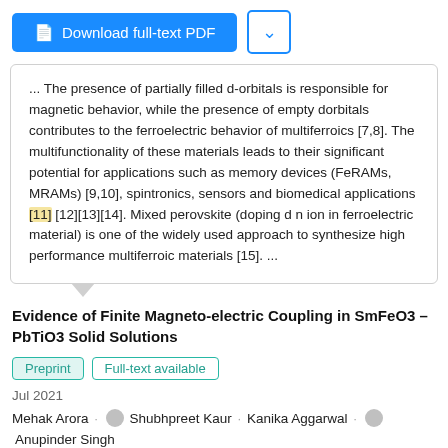[Figure (screenshot): Download full-text PDF button (blue) and a dropdown chevron button (white with blue border)]
... The presence of partially filled d-orbitals is responsible for magnetic behavior, while the presence of empty dorbitals contributes to the ferroelectric behavior of multiferroics [7,8]. The multifunctionality of these materials leads to their significant potential for applications such as memory devices (FeRAMs, MRAMs) [9,10], spintronics, sensors and biomedical applications [11] [12][13][14]. Mixed perovskite (doping d n ion in ferroelectric material) is one of the widely used approach to synthesize high performance multiferroic materials [15]. ...
Evidence of Finite Magneto-electric Coupling in SmFeO3 – PbTiO3 Solid Solutions
Preprint   Full-text available
Jul 2021
Mehak Arora · Shubhpreet Kaur · Kanika Aggarwal · Anupinder Singh
View   Show abstract